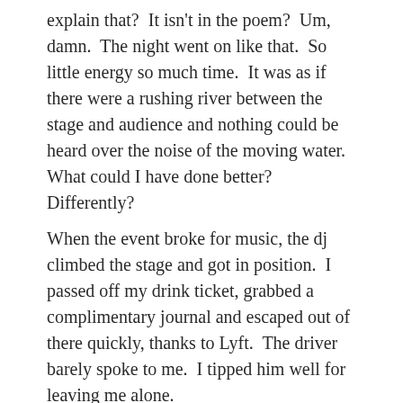explain that?  It isn't in the poem?  Um, damn.  The night went on like that.  So little energy so much time.  It was as if there were a rushing river between the stage and audience and nothing could be heard over the noise of the moving water.  What could I have done better?  Differently?
When the event broke for music, the dj climbed the stage and got in position.  I passed off my drink ticket, grabbed a complimentary journal and escaped out of there quickly, thanks to Lyft.  The driver barely spoke to me.  I tipped him well for leaving me alone.
The next reading the next night: I didn't want to go.  I nearly skipped it, but decided, stop being a hater, stop being negative.  There could be a huge blessing in the middle of every room you avoid.